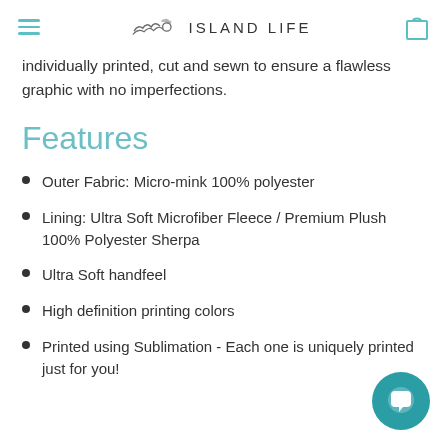ISLAND LIFE
individually printed, cut and sewn to ensure a flawless graphic with no imperfections.
Features
Outer Fabric: Micro-mink 100% polyester
Lining: Ultra Soft Microfiber Fleece / Premium Plush 100% Polyester Sherpa
Ultra Soft handfeel
High definition printing colors
Printed using Sublimation - Each one is uniquely printed just for you!